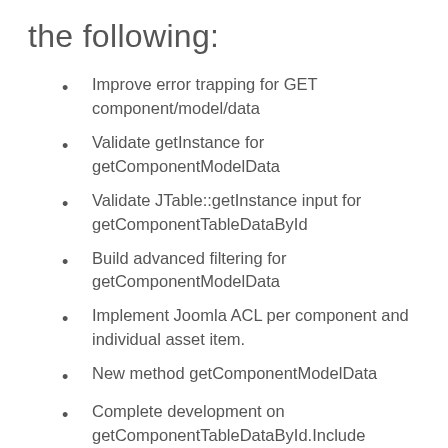the following:
Improve error trapping for GET component/model/data
Validate getInstance for getComponentModelData
Validate JTable::getInstance input for getComponentTableDataById
Build advanced filtering for getComponentModelData
Implement Joomla ACL per component and individual asset item.
New method getComponentModelData
Complete development on getComponentTableDataById.Include get_class_methods boolean check in